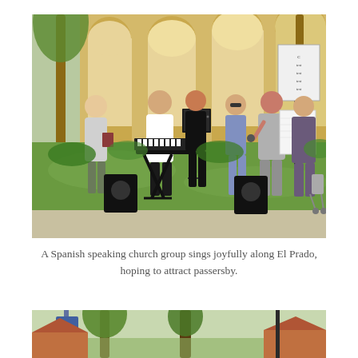[Figure (photo): Outdoor photo of a Spanish-speaking church group singing along El Prado. Several people stand on grass in front of arched yellow building. A keyboard on a stand is in the center, music stands with sheets, speakers on the ground, and a shopping cart visible on the right.]
A Spanish speaking church group sings joyfully along El Prado, hoping to attract passersby.
[Figure (photo): Partial photo showing outdoor scene with trees, a street sign, and tiled rooftop buildings, likely along El Prado area.]